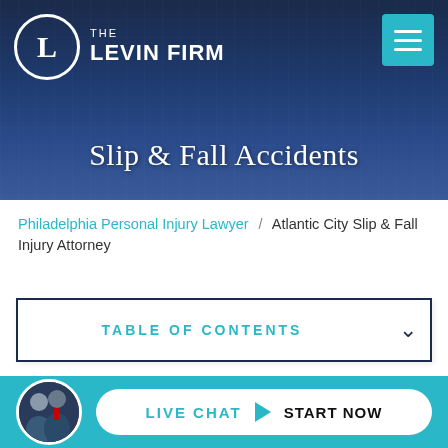[Figure (screenshot): Hero banner with The Levin Firm logo on left (circle with L), hamburger menu button (teal) on right, city skyline background in dark blue, centered white text 'Slip & Fall Accidents']
Slip & Fall Accidents
Philadelphia Personal Injury Lawyer / Atlantic City Slip & Fall Injury Attorney
TABLE OF CONTENTS
Atlantic City Slip &
LIVE CHAT START NOW